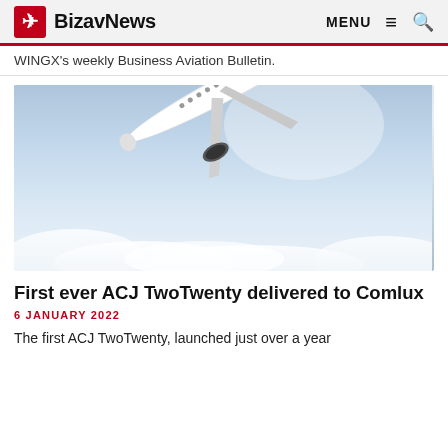BizavNews | MENU ☰ 🔍
WINGX's weekly Business Aviation Bulletin.
[Figure (photo): A commercial/business jet aircraft (ACJ TwoTwenty) climbing in flight against a blue sky with clouds below. The aircraft has a white fuselage with dark blue tail livery.]
First ever ACJ TwoTwenty delivered to Comlux
6 JANUARY 2022
The first ACJ TwoTwenty, launched just over a year